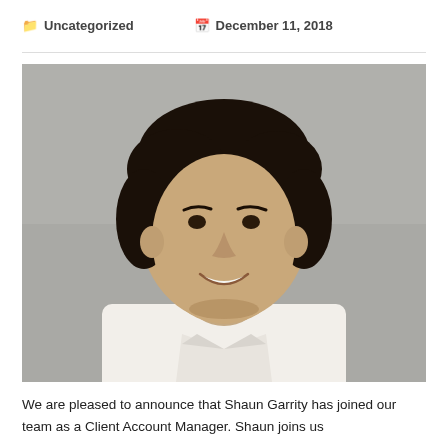Uncategorized   December 11, 2018
[Figure (photo): Headshot photo of a young man with dark hair, smiling, wearing a white collared shirt, photographed against a light grey background.]
We are pleased to announce that Shaun Garrity has joined our team as a Client Account Manager. Shaun joins us